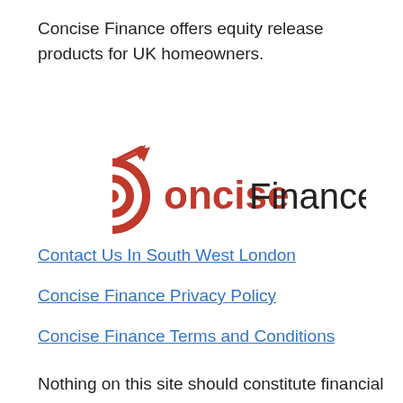Concise Finance offers equity release products for UK homeowners.
[Figure (logo): Concise Finance logo: a red target/bullseye icon with an arrow and the text 'Concise Finance' in red and black.]
Contact Us In South West London
Concise Finance Privacy Policy
Concise Finance Terms and Conditions
Nothing on this site should constitute financial